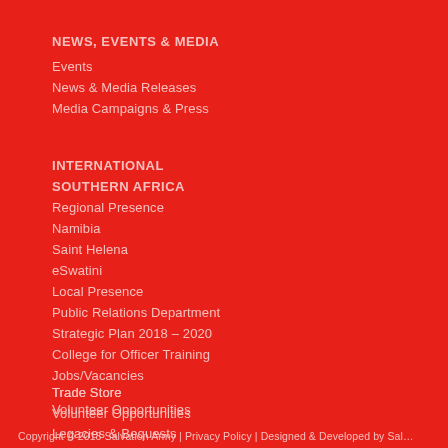NEWS, EVENTS & MEDIA
Events
News & Media Releases
Media Campaigns & Press
INTERNATIONAL SOUTHERN AFRICA
Regional Presence
Namibia
Saint Helena
eSwatini
Local Presence
Public Relations Department
Strategic Plan 2018 – 2020
College for Officer Training
Jobs/Vacancies
Trade Store
Volunteer Opportunities
Legacies & Bequests
Donations
Self Denial Appeal 2021
Copyright © 2018 Salvation Army | Privacy Policy | Designed & Developed by Sal…